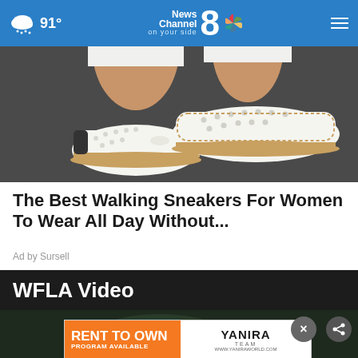91° News Channel 8 on your side
[Figure (photo): Close-up photo of white perforated slip-on walking sneakers worn on a pavement surface]
The Best Walking Sneakers For Women To Wear All Day Without...
Ad by Sursell
WFLA Video
[Figure (screenshot): Dark tropical satellite weather map video thumbnail with text TROPICAL SATELLITE overlay]
[Figure (photo): Bottom advertisement banner: RENT TO OWN PROGRAM AVAILABLE by Yanira Team, www.yaniraworld.com]